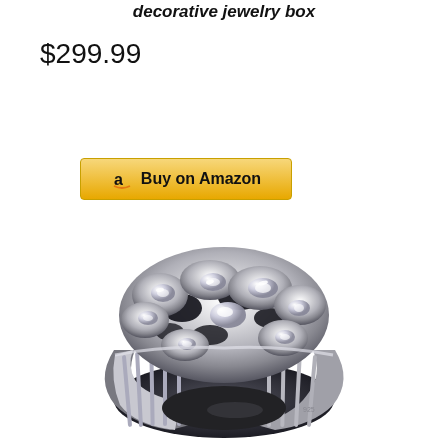decorative jewelry box
$299.99
[Figure (other): Amazon Buy on Amazon button with golden yellow background and Amazon 'a' logo]
[Figure (photo): A large ornate silver/white gold men's ring with nugget-style design featuring multiple sparkling clear diamonds or crystals set in a chunky, textured mount with ribbed band shank]